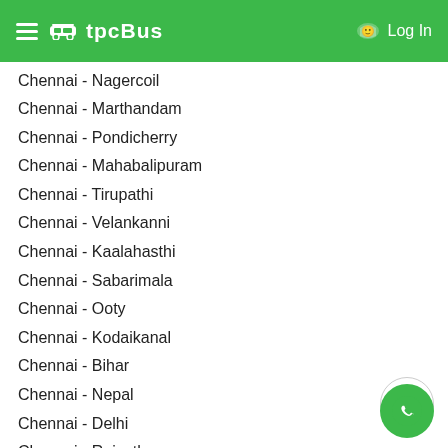tpcBus  Log In
Chennai - Nagercoil
Chennai - Marthandam
Chennai - Pondicherry
Chennai - Mahabalipuram
Chennai - Tirupathi
Chennai - Velankanni
Chennai - Kaalahasthi
Chennai - Sabarimala
Chennai - Ooty
Chennai - Kodaikanal
Chennai - Bihar
Chennai - Nepal
Chennai - Delhi
Chennai - Rajasthan
Chennai - Hyderabad
Chennai - Mumbai
Chennai - Ernakulam
Chennai - Odisha
Chennai - Gauriphanta
Chennai - Kolkata
Bangalore Bus, Van, Tempo Traveller
Bangalore - Chennai